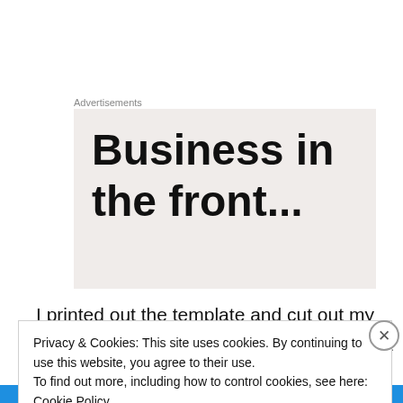Advertisements
[Figure (other): Advertisement box with large bold text reading 'Business in the front...' on a light beige/gray background]
I printed out the template and cut out my pieces and just started sewing figuring that everything would work out.  The pieces all lined up, but then I sewed the rows together and I most definitely did not have triangles.  It
Privacy & Cookies: This site uses cookies. By continuing to use this website, you agree to their use.
To find out more, including how to control cookies, see here: Cookie Policy
Close and accept